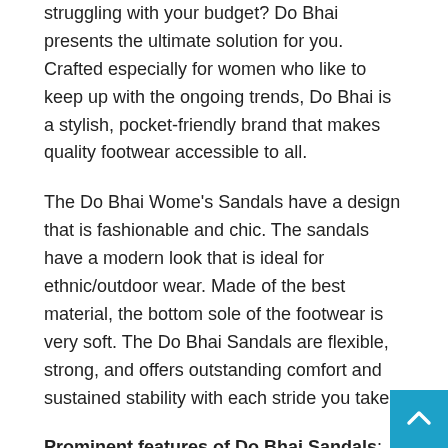struggling with your budget? Do Bhai presents the ultimate solution for you. Crafted especially for women who like to keep up with the ongoing trends, Do Bhai is a stylish, pocket-friendly brand that makes quality footwear accessible to all.
The Do Bhai Wome's Sandals have a design that is fashionable and chic. The sandals have a modern look that is ideal for ethnic/outdoor wear. Made of the best material, the bottom sole of the footwear is very soft. The Do Bhai Sandals are flexible, strong, and offers outstanding comfort and sustained stability with each stride you take.
Prominent features of Do Bhai Sandals:
The Do Bhai Sandals has a hook and loop closure for easy use.